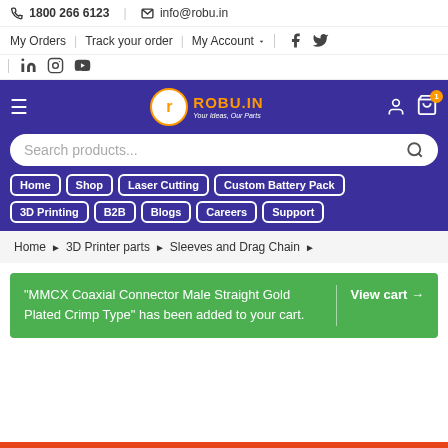📞 1800 266 6123 | ✉ info@robu.in
My Orders | Track your order | My Account
[Figure (logo): Robu.in logo with orange R in white circle and text ROBU.IN Your Ideas, Our Parts on purple background]
Search products...
Home | Shop | Laser Cutting | Custom Battery Pack | 3D Printing | B2B | Blogs | Careers | Support
Home > 3D Printer parts > Sleeves and Drag Chain >
"MMCX Coaxial Connector Male Straight Gold Plated Crimp Type" has been added to your cart. | View cart →